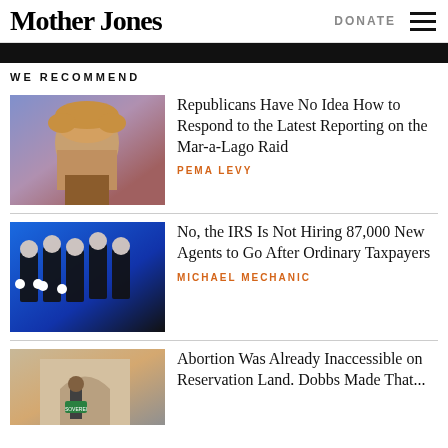Mother Jones  DONATE
WE RECOMMEND
[Figure (photo): Photo of Donald Trump on a colorful stage background]
Republicans Have No Idea How to Respond to the Latest Reporting on the Mar-a-Lago Raid
PEMA LEVY
[Figure (photo): Photo of IRS agents in suits marching on a blue background]
No, the IRS Is Not Hiring 87,000 New Agents to Go After Ordinary Taxpayers
MICHAEL MECHANIC
[Figure (photo): Photo of a person holding a sign outside a building]
Abortion Was Already Inaccessible on Reservation Land. Dobbs Made That...